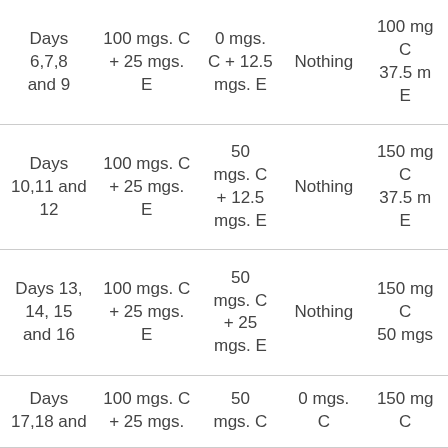| Days | 100 mgs. C + 25 mgs. E | 0 mgs. C + 12.5 mgs. E | Nothing | 100 mgs. C 37.5 mgs. E |
| --- | --- | --- | --- | --- |
| Days 6,7,8 and 9 | 100 mgs. C + 25 mgs. E | 0 mgs. C + 12.5 mgs. E | Nothing | 100 mgs. C 37.5 mgs. E |
| Days 10,11 and 12 | 100 mgs. C + 25 mgs. E | 50 mgs. C + 12.5 mgs. E | Nothing | 150 mgs. C 37.5 mgs. E |
| Days 13, 14, 15 and 16 | 100 mgs. C + 25 mgs. E | 50 mgs. C + 25 mgs. E | Nothing | 150 mgs. C 50 mgs. |
| Days 17,18 and... | 100 mgs. C + 25 mgs. | 50 mgs. C + 12.5... | 0 mgs. C | 150 mgs. C |